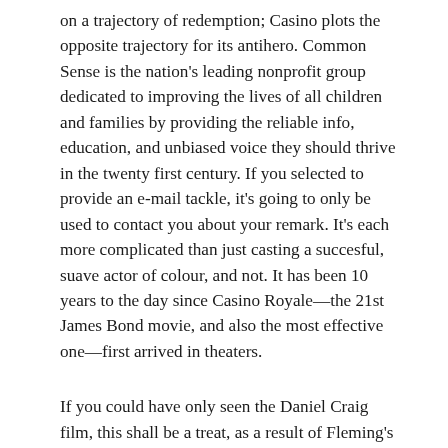on a trajectory of redemption; Casino plots the opposite trajectory for its antihero. Common Sense is the nation's leading nonprofit group dedicated to improving the lives of all children and families by providing the reliable info, education, and unbiased voice they should thrive in the twenty first century. If you selected to provide an e-mail tackle, it's going to only be used to contact you about your remark. It's each more complicated than just casting a succesful, suave actor of colour, and not. It has been 10 years to the day since Casino Royale—the 21st James Bond movie, and also the most effective one—first arrived in theaters.
If you could have only seen the Daniel Craig film, this shall be a treat, as a result of Fleming's Bond reacts in a unique way to every little thing. He is human, while being a spy, able to misreading